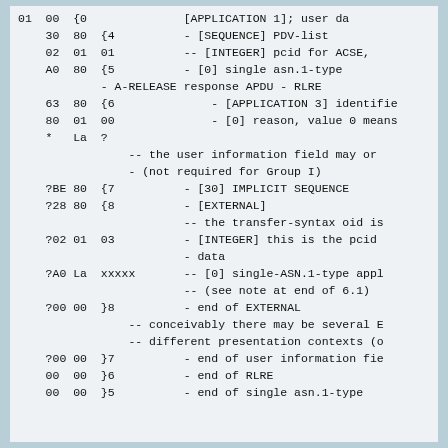01 00 {0               [APPLICATION 1]; user da
    30  80  {4          - [SEQUENCE] PDV-list
    02  01  01          -- [INTEGER] pcid for ACSE,
    A0  80  {5          - [0] single asn.1-type
            - A-RELEASE response APDU - RLRE
    63  80  {6              - [APPLICATION 3] identifie
    80  01  00              - [0] reason, value 0 means
    *   La  ?
                -- the user information field may or
                - (not required for Group I)
    ?BE 80  {7          - [30] IMPLICIT SEQUENCE
    ?28 80  {8          - [EXTERNAL]
                        -- the transfer-syntax oid is
    ?02 01  03          - [INTEGER] this is the pcid
                        - data
    ?A0 La  xxxxx       -- [0] single-ASN.1-type appl
                        -- (see note at end of 6.1)
    ?00 00  }8          - end of EXTERNAL
                -- conceivably there may be several E
                -- different presentation contexts (o
    ?00 00  }7          - end of user information fie
    00  00  }6          - end of RLRE
    00  00  }5          - end of single asn.1-type